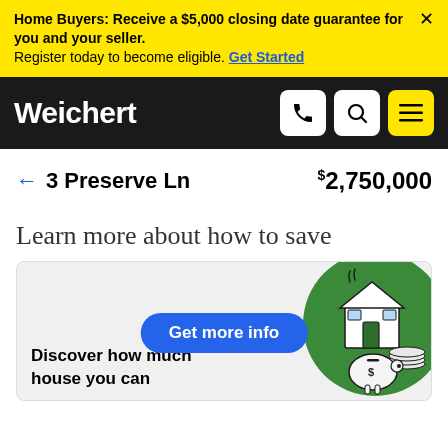Home Buyers: Receive a $5,000 closing date guarantee for you and your seller. Register today to become eligible. Get Started
Weichert
← 3 Preserve Ln  $2,750,000
Learn more about how to save
[Figure (illustration): Illustration of a house with coins and a piggy bank on a green circular background, with a blue 'Get more info' button overlaid]
Discover how much house you can